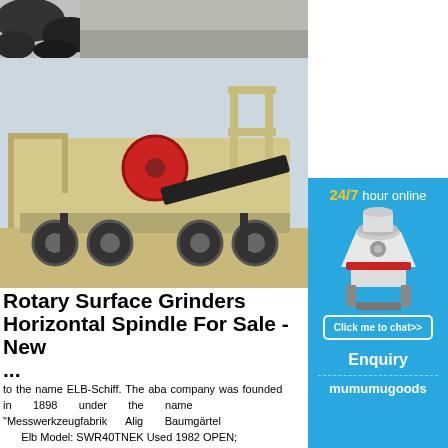[Figure (photo): Partial photo of gravel/rock material, cropped at top]
[Figure (photo): Mobile jaw crusher / portable crushing plant on wheels, beige/tan colored industrial machinery with red flywheel, photographed outdoors]
Rotary Surface Grinders Horizontal Spindle For Sale - New ...
to the name ELB-Schiff. The aba company was founded in 1898 under the name
"Messwerkzeugfabrik Alig Baumgärtel Elb Model: SWR40TNEK Used 1982 OPEN; Aschaffenburg", hence the initials aba.
Elb
More
Get Price
elb grinder
SWR40TNEK ROTARY used machine
[Figure (photo): Cone crusher machine illustration/photo on blue banner advertisement, white and red colored crusher]
24/7 hour online
Click me to chat>>
Enquiry
mumumugoods